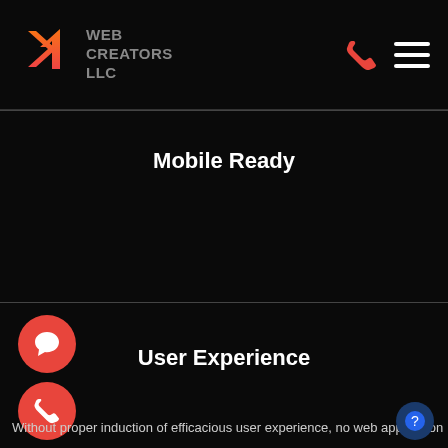[Figure (logo): Web Creators LLC logo with orange arrow/chevron icon and gray text]
Mobile Ready
It is advantageous for our partners to build applications that are also mobile-ready and convertible.
[Figure (illustration): Red circular chat bubble button icon]
[Figure (illustration): Red circular phone button icon]
User Experience
Without proper induction of efficacious user experience, no web application
[Figure (illustration): Blue circular help/question mark button]